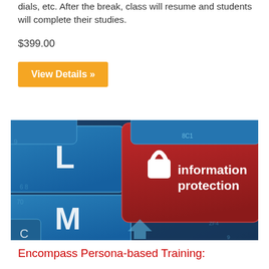dials, etc. After the break, class will resume and students will complete their studies.
$399.00
View Details »
[Figure (photo): Close-up photo of a blue keyboard with a red key labeled 'information protection' with a padlock icon]
Encompass Persona-based Training: